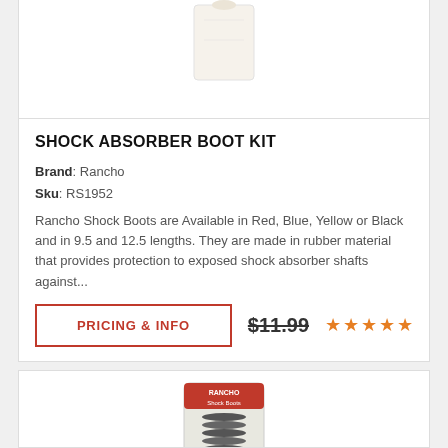[Figure (photo): Partial view of a product bag visible at top of page — white packaging]
SHOCK ABSORBER BOOT KIT
Brand: Rancho
Sku: RS1952
Rancho Shock Boots are Available in Red, Blue, Yellow or Black and in 9.5 and 12.5 lengths. They are made in rubber material that provides protection to exposed shock absorber shafts against...
PRICING & INFO
$11.99
[Figure (photo): Rancho Shock Boots product in packaging — red label bag with corrugated black boot visible]